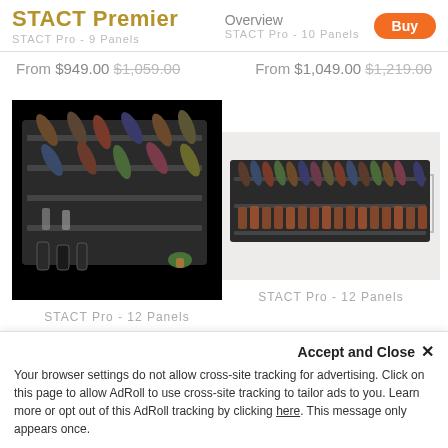STACT Premier | STACT Pro - 9 Panels | Overview | Buy | STACT Pro - 10 Panels
From $949.00 $1,059.00
From $1,049.00 $1,219.00
[Figure (photo): Black wall-mounted wine rack with multiple panels holding wine bottles, glasses, and accessories — STACT Pro 12 Panels configuration]
[Figure (photo): Black wall-mounted wine rack in wide horizontal format holding many bottles in a row — STACT Pro 12 Panels configuration]
STACT Pro - 12 Panels
STACT Pro - 12 Panels
Accept and Close ×
Your browser settings do not allow cross-site tracking for advertising. Click on this page to allow AdRoll to use cross-site tracking to tailor ads to you. Learn more or opt out of this AdRoll tracking by clicking here. This message only appears once.